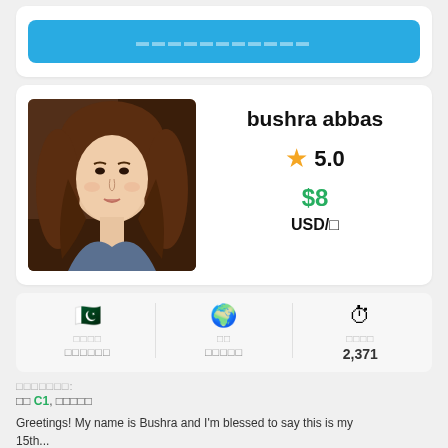[Figure (other): Blue button with placeholder/redacted text]
[Figure (photo): Profile photo of Bushra Abbas, a young woman with long brown hair]
bushra abbas
★ 5.0
$8
USD/□
□□□□ □□□□□□ (Pakistan flag icon, redacted label)
□□ □□□□□ (Globe icon, redacted label)
□□□□ 2,371 (Timer icon, redacted label)
□□□□□□□:
□□ C1, □□□□□
Greetings! My name is Bushra and I'm blessed to say this is my 15th... (cut off)